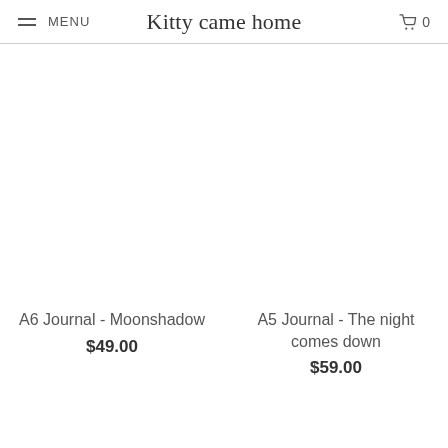MENU | Kitty came home | 0
[Figure (photo): Product image area for A6 Journal - Moonshadow (blank/white placeholder)]
A6 Journal - Moonshadow
$49.00
[Figure (photo): Product image area for A5 Journal - The night comes down (blank/white placeholder)]
A5 Journal - The night comes down
$59.00